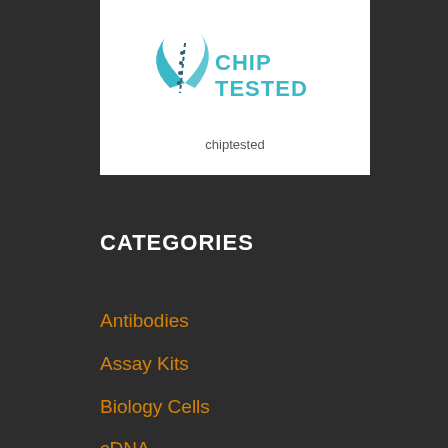[Figure (logo): ChipTested logo with teal/cyan leaf or chip design and text 'CHIP TESTED' above, 'chiptested' below]
CATEGORIES
Antibodies
Assay Kits
Biology Cells
cDNA
Clia Kits
Culture Cells